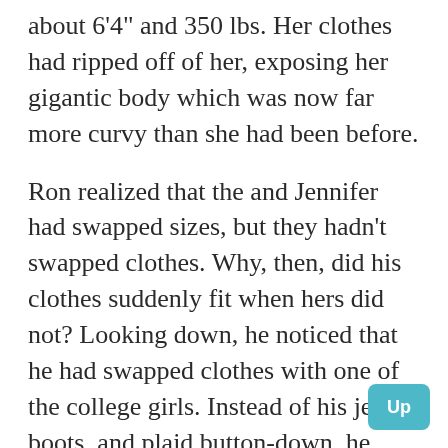about 6'4" and 350 lbs. Her clothes had ripped off of her, exposing her gigantic body which was now far more curvy than she had been before.
Ron realized that the and Jennifer had swapped sizes, but they hadn't swapped clothes. Why, then, did his clothes suddenly fit when hers did not? Looking down, he noticed that he had swapped clothes with one of the college girls. Instead of his jeans, boots, and plaid button-down, he now wore flip-flops, a micro-skirt, and a sheer tank top that left nothing to the imagination. Not tha